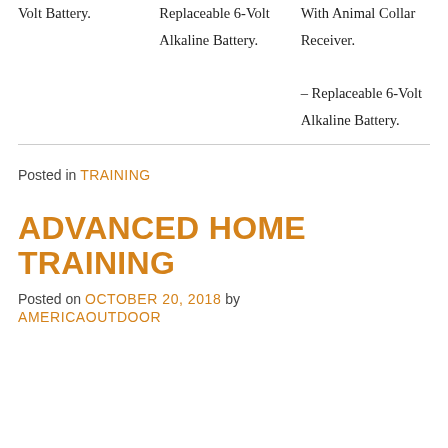Volt Battery.
Replaceable 6-Volt Alkaline Battery.
With Animal Collar Receiver.
– Replaceable 6-Volt Alkaline Battery.
Posted in TRAINING
ADVANCED HOME TRAINING
Posted on OCTOBER 20, 2018  by
AMERICAOUTDOOR